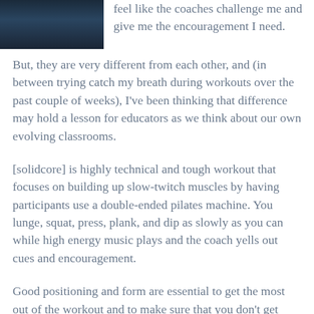[Figure (photo): Partial photo of a person in dark clothing at the top left of the page]
feel like the coaches challenge me and give me the encouragement I need.
But, they are very different from each other, and (in between trying catch my breath during workouts over the past couple of weeks), I've been thinking that difference may hold a lesson for educators as we think about our own evolving classrooms.
[solidcore] is highly technical and tough workout that focuses on building up slow-twitch muscles by having participants use a double-ended pilates machine. You lunge, squat, press, plank, and dip as slowly as you can while high energy music plays and the coach yells out cues and encouragement.
Good positioning and form are essential to get the most out of the workout and to make sure that you don't get hurt.  Therefore, there are only nine to